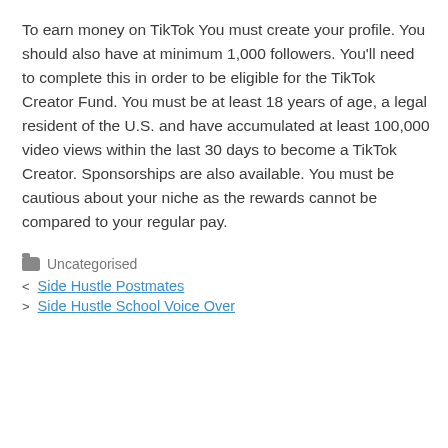To earn money on TikTok You must create your profile. You should also have at minimum 1,000 followers. You'll need to complete this in order to be eligible for the TikTok Creator Fund. You must be at least 18 years of age, a legal resident of the U.S. and have accumulated at least 100,000 video views within the last 30 days to become a TikTok Creator. Sponsorships are also available. You must be cautious about your niche as the rewards cannot be compared to your regular pay.
Uncategorised
< Side Hustle Postmates
> Side Hustle School Voice Over